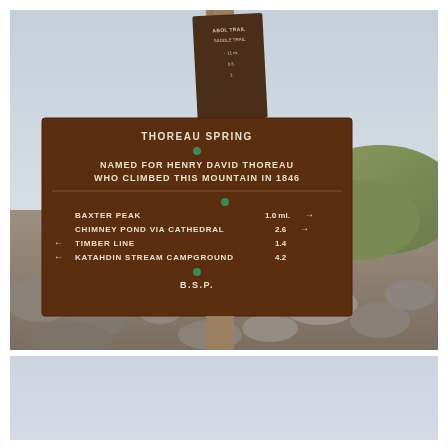[Figure (photo): Outdoor photograph of a brown wooden trail sign for 'Thoreau Spring' on Mount Katahdin. The sign reads: THOREAU SPRING / NAMED FOR HENRY DAVID THOREAU / WHO CLIMBED THIS MOUNTAIN IN 1846. Below, directional distances: BAXTER PEAK 1.0 mi. (right arrow), CHIMNEY POND VIA CATHEDRAL 2.6 (right arrow), TIMBER LINE 1.4 (left arrow), KATAHDIN STREAM CAMPGROUND 4.2 (left arrow). B.S.P. at bottom. Rocky terrain and overcast sky visible in background.]
[Figure (photo): Lower portion of page showing a pale blue-grey sky background, likely continuation of the outdoor scene or a blank/muted area.]